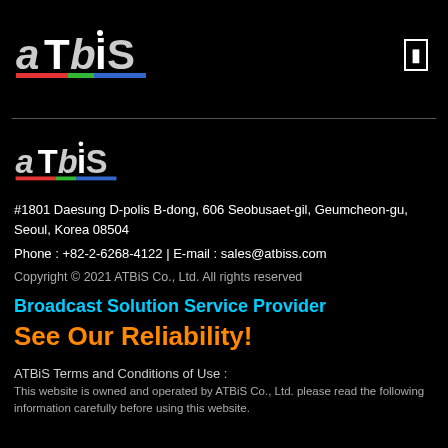[Figure (logo): ATBiS company logo in white text with colored underbar (red, green, blue segments), top header area]
[Figure (logo): ATBiS company logo in white text with colored underbar (red, green, blue segments), body section]
#1801 Daesung D-polis B-dong, 606 Seobusaet-gil, Geumcheon-gu, Seoul, Korea 08504
Phone : +82-2-6268-4122 | E-mail : sales@atbiss.com
Copyright © 2021 ATBiS Co., Ltd. All rights reserved
Broadcast Solution Service Provider
See Our Reliability!
ATBiS Terms and Conditions of Use :
This website is owned and operated by ATBiS Co., Ltd. please read the following information carefully before using this website.